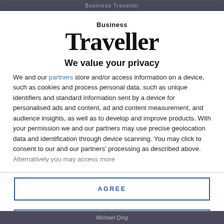Business Traveller
[Figure (logo): Business Traveller logo with 'Business' in small text above large serif 'Traveller' wordmark]
We value your privacy
We and our partners store and/or access information on a device, such as cookies and process personal data, such as unique identifiers and standard information sent by a device for personalised ads and content, ad and content measurement, and audience insights, as well as to develop and improve products. With your permission we and our partners may use precise geolocation data and identification through device scanning. You may click to consent to our and our partners' processing as described above. Alternatively you may access more
AGREE
MORE OPTIONS
Michael Qing